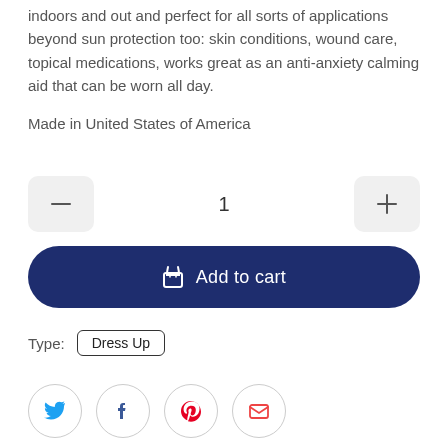indoors and out and perfect for all sorts of applications beyond sun protection too: skin conditions, wound care, topical medications, works great as an anti-anxiety calming aid that can be worn all day.
Made in United States of America
1
Add to cart
Type:  Dress Up